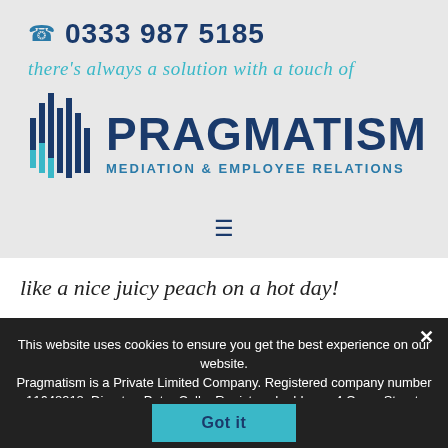0333 987 5185
there's always a solution with a touch of
[Figure (logo): Pragmatism Mediation & Employee Relations logo with vertical bar chart icon and bold PRAGMATISM text]
like a nice juicy peach on a hot day!
This website uses cookies to ensure you get the best experience on our website. Pragmatism is a Private Limited Company. Registered company number 11648918. Director: Peter Colby Registered address: 4 Cross Street, Beeston, Nottingham, England, NG9 2NX